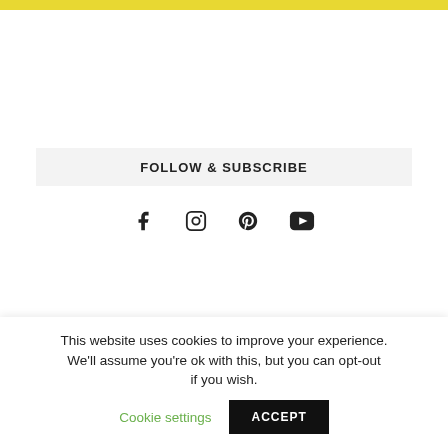[Figure (other): Yellow decorative bar at the top of the page]
FOLLOW & SUBSCRIBE
[Figure (other): Social media icons: Facebook, Instagram, Pinterest, YouTube]
NEWSLETTER
First Name
Your first name
This website uses cookies to improve your experience. We'll assume you're ok with this, but you can opt-out if you wish. Cookie settings ACCEPT